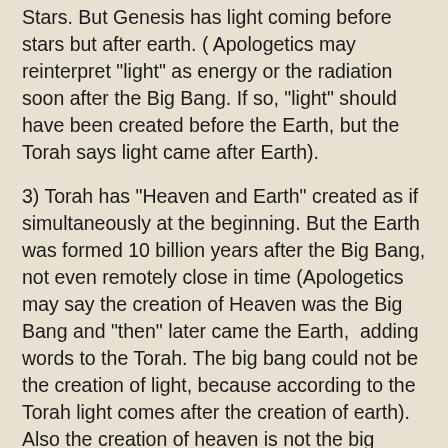Stars. But Genesis has light coming before stars but after earth. ( Apologetics may reinterpret "light" as energy or the radiation soon after the Big Bang. If so, "light" should have been created before the Earth, but the Torah says light came after Earth).
3) Torah has "Heaven and Earth" created as if simultaneously at the beginning. But the Earth was formed 10 billion years after the Big Bang, not even remotely close in time (Apologetics may say the creation of Heaven was the Big Bang and "then" later came the Earth,  adding words to the Torah. The big bang could not be the creation of light, because according to the Torah light comes after the creation of earth). Also the creation of heaven is not the big bang. Rather, heaven is a result of the expansion of the tiny ball. The Torah should have said God made a tiny ball and caused it to expand into the Heaven.
{ETA 3/23/2106 From the Book Understanding